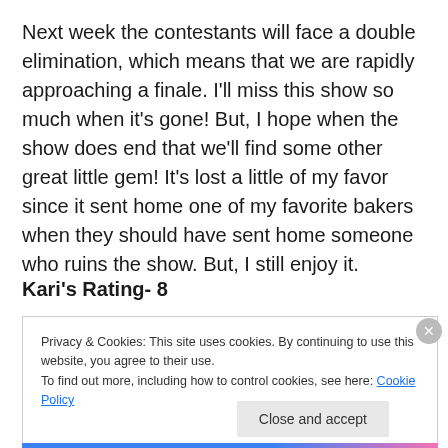Next week the contestants will face a double elimination, which means that we are rapidly approaching a finale. I'll miss this show so much when it's gone! But, I hope when the show does end that we'll find some other great little gem!  It's lost a little of my favor since it sent home one of my favorite bakers when they should have sent home someone who ruins the show. But, I still enjoy it.
Kari's Rating- 8
Privacy & Cookies: This site uses cookies. By continuing to use this website, you agree to their use.
To find out more, including how to control cookies, see here: Cookie Policy
Close and accept